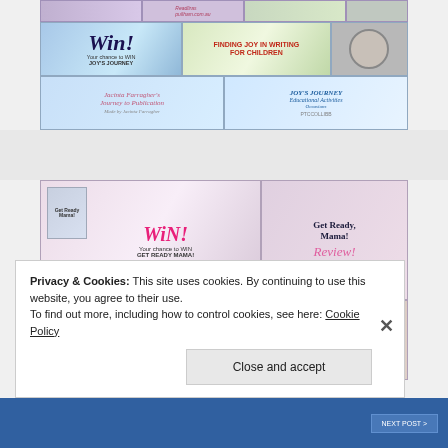[Figure (photo): Collage of images related to Joy's Journey children's book — win promotion, finding joy in writing for children, educational activities, author photo, Jacinta Farragher journey to publication]
[Figure (photo): Collage of images related to Get Ready Mama children's book — win promotion, book cover, review, campaign April 25-29, We're Ready To Go With promotional images]
Privacy & Cookies: This site uses cookies. By continuing to use this website, you agree to their use.
To find out more, including how to control cookies, see here: Cookie Policy
Close and accept